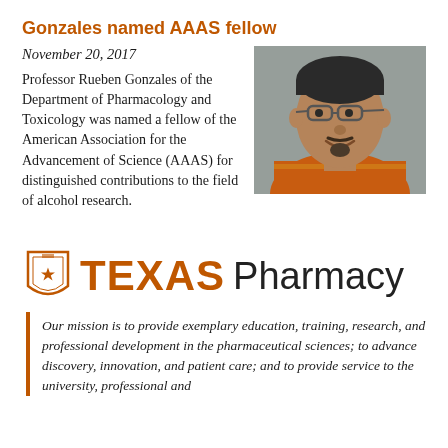Gonzales named AAAS fellow
November 20, 2017
[Figure (photo): Portrait photo of Professor Rueben Gonzales, a man wearing glasses and an orange shirt, smiling.]
Professor Rueben Gonzales of the Department of Pharmacology and Toxicology was named a fellow of the American Association for the Advancement of Science (AAAS) for distinguished contributions to the field of alcohol research.
[Figure (logo): UT Texas Pharmacy logo with shield icon, orange TEXAS text and dark Pharmacy text]
Our mission is to provide exemplary education, training, research, and professional development in the pharmaceutical sciences; to advance discovery, innovation, and patient care; and to provide service to the university, professional and